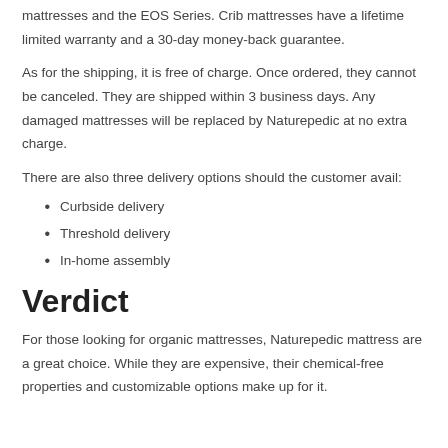mattresses and the EOS Series. Crib mattresses have a lifetime limited warranty and a 30-day money-back guarantee.
As for the shipping, it is free of charge. Once ordered, they cannot be canceled. They are shipped within 3 business days. Any damaged mattresses will be replaced by Naturepedic at no extra charge.
There are also three delivery options should the customer avail:
Curbside delivery
Threshold delivery
In-home assembly
Verdict
For those looking for organic mattresses, Naturepedic mattress are a great choice. While they are expensive, their chemical-free properties and customizable options make up for it.